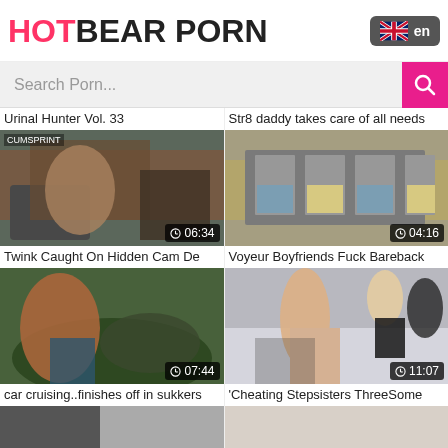HOTBEAR PORN
Search Porn...
Urinal Hunter Vol. 33
Str8 daddy takes care of all needs
[Figure (photo): Video thumbnail - people on couch, duration 06:34]
[Figure (photo): Video thumbnail - voyeur scene through window, duration 04:16]
Twink Caught On Hidden Cam De
Voyeur Boyfriends Fuck Bareback
[Figure (photo): Video thumbnail - outdoor scene, duration 07:44]
[Figure (photo): Video thumbnail - kitchen threesome scene, duration 11:07]
car cruising..finishes off in sukkers
'Cheating Stepsisters ThreeSome
[Figure (photo): Video thumbnail - partial, bottom row left]
[Figure (photo): Video thumbnail - partial, bottom row right]